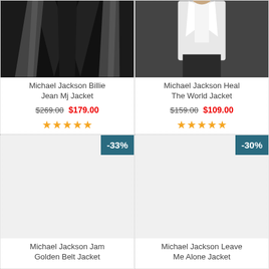[Figure (photo): Michael Jackson Billie Jean MJ Jacket product photo - black sequin jacket]
Michael Jackson Billie Jean Mj Jacket
$269.00  $179.00
[Figure (other): 5-star rating]
[Figure (photo): Michael Jackson Heal The World Jacket product photo - white jacket]
Michael Jackson Heal The World Jacket
$159.00  $109.00
[Figure (other): 5-star rating]
-33%
[Figure (photo): Michael Jackson Jam Golden Belt Jacket product placeholder image]
Michael Jackson Jam Golden Belt Jacket
-30%
[Figure (photo): Michael Jackson Leave Me Alone Jacket product placeholder image]
Michael Jackson Leave Me Alone Jacket